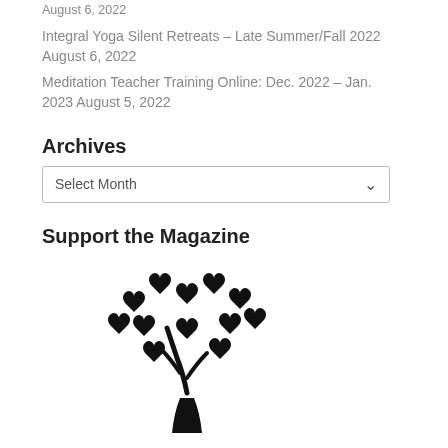August 6, 2022
Integral Yoga Silent Retreats – Late Summer/Fall 2022 August 6, 2022
Meditation Teacher Training Online: Dec. 2022 – Jan. 2023 August 5, 2022
Archives
Select Month
Support the Magazine
[Figure (illustration): A black silhouette of a tree with heart-shaped leaves/foliage, representing love and support.]